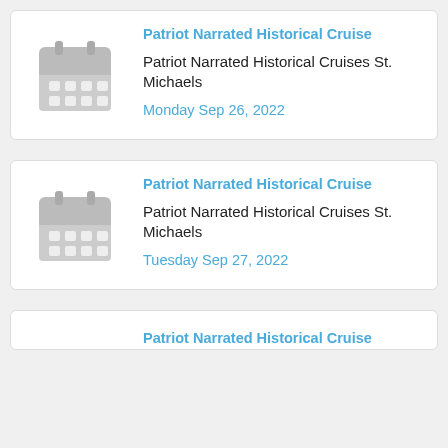[Figure (illustration): Grey calendar icon]
Patriot Narrated Historical Cruise
Patriot Narrated Historical Cruises St. Michaels
Monday Sep 26, 2022
[Figure (illustration): Grey calendar icon]
Patriot Narrated Historical Cruise
Patriot Narrated Historical Cruises St. Michaels
Tuesday Sep 27, 2022
Patriot Narrated Historical Cruise